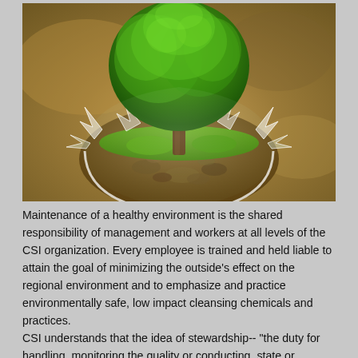[Figure (photo): A lush green tree growing out of a broken glass globe/bowl filled with soil and rocks, set against a blurred warm brown background.]
Maintenance of a healthy environment is the shared responsibility of management and workers at all levels of the CSI organization. Every employee is trained and held liable to attain the goal of minimizing the outside's effect on the regional environment and to emphasize and practice environmentally safe, low impact cleansing chemicals and practices.
CSI understands that the idea of stewardship-- "the duty for handling, monitoring the quality or conducting, state or condition of an institutional or commercial building"- is necessary to the green